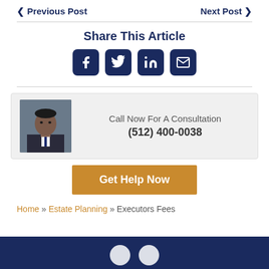< Previous Post    Next Post >
Share This Article
[Figure (illustration): Social media share icons: Facebook, Twitter, LinkedIn, Email]
[Figure (photo): Headshot of a man in a suit next to text: Call Now For A Consultation (512) 400-0038]
Get Help Now
Home » Estate Planning » Executors Fees
[Figure (illustration): Footer bar with circular icons]